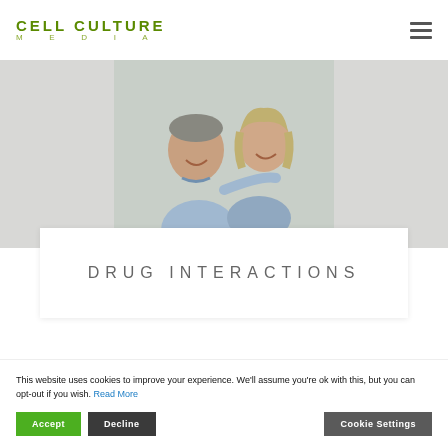CELL CULTURE MEDIA
[Figure (photo): Photo of a smiling middle-aged couple, man and woman, close together against a light background]
DRUG INTERACTIONS
This website uses cookies to improve your experience. We'll assume you're ok with this, but you can opt-out if you wish. Read More
Accept | Decline | Cookie Settings